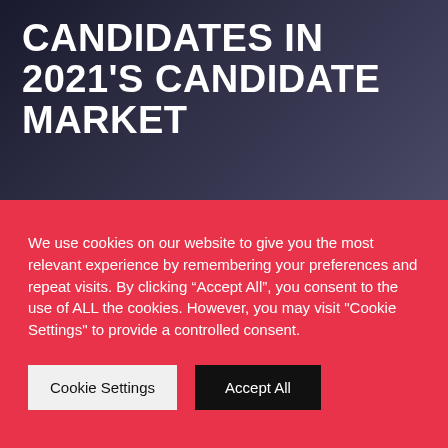CANDIDATES IN 2021'S CANDIDATE MARKET
We use cookies on our website to give you the most relevant experience by remembering your preferences and repeat visits. By clicking “Accept All”, you consent to the use of ALL the cookies. However, you may visit "Cookie Settings" to provide a controlled consent.